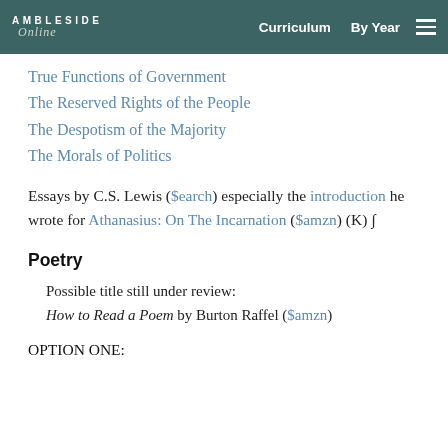AMBLESIDE Online  Curriculum  By Year
True Functions of Government
The Reserved Rights of the People
The Despotism of the Majority
The Morals of Politics
Essays by C.S. Lewis ($earch) especially the introduction he wrote for Athanasius: On The Incarnation ($amzn) (K) ∫
Poetry
Possible title still under review:
How to Read a Poem by Burton Raffel ($amzn)
OPTION ONE: